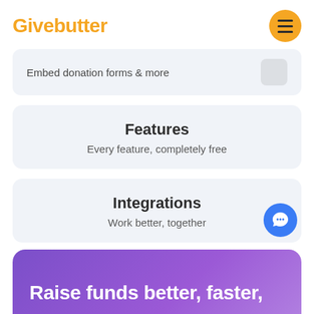Givebutter
Embed donation forms & more
Features
Every feature, completely free
Integrations
Work better, together
Raise funds better, faster,